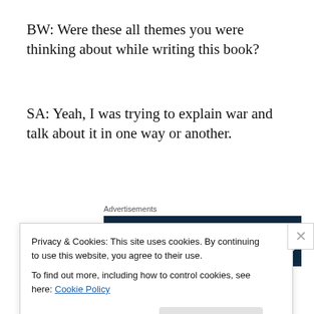BW: Were these all themes you were thinking about while writing this book?
SA: Yeah, I was trying to explain war and talk about it in one way or another.
Advertisements
[Figure (other): Advertisement banner with dark navy background showing 'Opinions. We all have them!' with WordPress and FreshNews logos]
BW: How do you feel about the way this book has been received so far?
Privacy & Cookies: This site uses cookies. By continuing to use this website, you agree to their use.
To find out more, including how to control cookies, see here: Cookie Policy
Close and accept